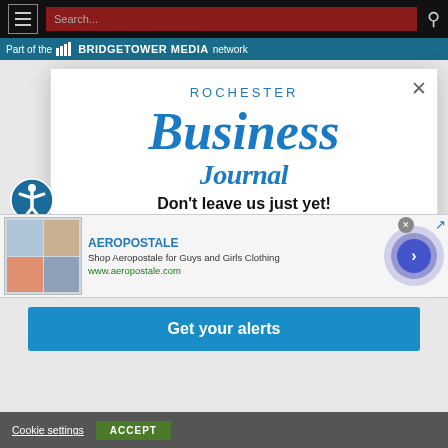Navigation bar with hamburger menu and search
Part of the BridgeTower Media network
[Figure (logo): Rochester Business Journal logo with blue italic text]
Don't leave us just yet!
Sign up for free news alerts. Keep your edge with our daily alerts and breaking news as it happens.
[Figure (screenshot): Aeropostale advertisement banner showing clothing images, brand name, description and URL]
Get your alerts
Cookie settings  ACCEPT